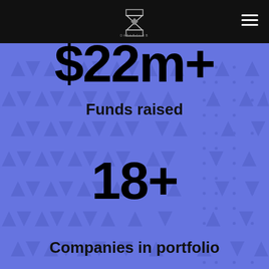DATARCLUB
$22m+
Funds raised
18+
Companies in portfolio